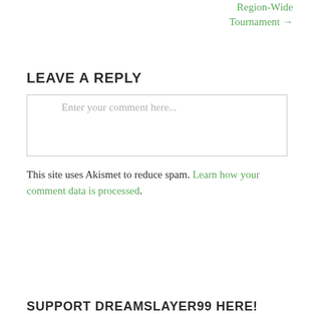Region-Wide Tournament →
LEAVE A REPLY
Enter your comment here...
This site uses Akismet to reduce spam. Learn how your comment data is processed.
SUPPORT DREAMSLAYER99 HERE!